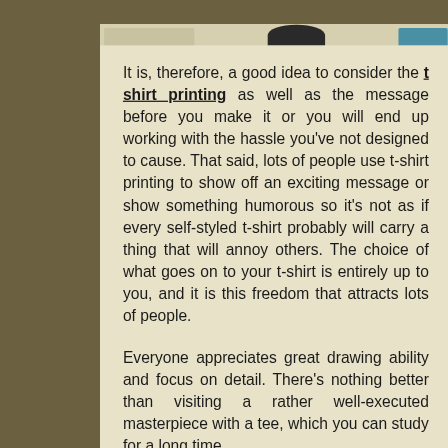[Figure (photo): Top portion of image showing partial view of items including a dark hat shape in center and blue item on right, on a beige/cream background]
It is, therefore, a good idea to consider the t shirt printing as well as the message before you make it or you will end up working with the hassle you've not designed to cause. That said, lots of people use t-shirt printing to show off an exciting message or show something humorous so it's not as if every self-styled t-shirt probably will carry a thing that will annoy others. The choice of what goes on to your t-shirt is entirely up to you, and it is this freedom that attracts lots of people.
Everyone appreciates great drawing ability and focus on detail. There's nothing better than visiting a rather well-executed masterpiece with a tee, which you can study for a long time.
The direction of...